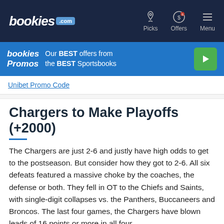bookies.com | Picks | Offers | Menu
[Figure (infographic): Bookies Promos banner: Our BEST offers from the BEST Sportsbooks with a green play button]
Unibet Promo Code
Chargers to Make Playoffs (+2000)
The Chargers are just 2-6 and justly have high odds to get to the postseason. But consider how they got to 2-6. All six defeats featured a massive choke by the coaches, the defense or both. They fell in OT to the Chiefs and Saints, with single-digit collapses vs. the Panthers, Buccaneers and Broncos. The last four games, the Chargers have blown leads of 16 points or more in all four.